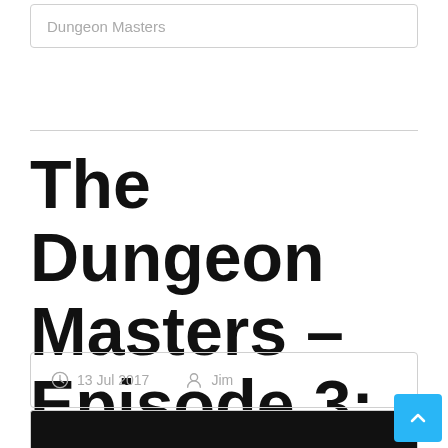Dungeon Masters
The Dungeon Masters – Episode 3: Scott Brown
13 Jul 2017   Jim
[Figure (screenshot): Dark background image with white text reading 'a Guy, a Girl, and a Goblin']